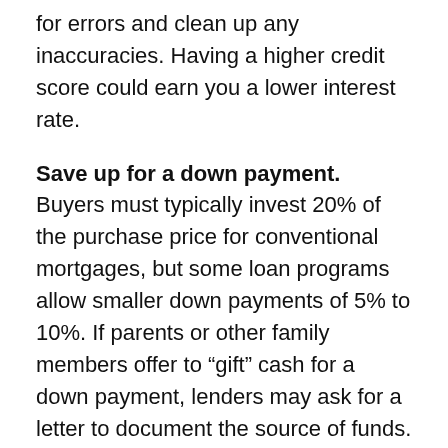for errors and clean up any inaccuracies. Having a higher credit score could earn you a lower interest rate.
Save up for a down payment. Buyers must typically invest 20% of the purchase price for conventional mortgages, but some loan programs allow smaller down payments of 5% to 10%. If parents or other family members offer to “gift” cash for a down payment, lenders may ask for a letter to document the source of funds. There may also be local programs that provide down-payment assistance for buyers who meet income requirements and take classes on homeownership.
Find out how much you can afford to spend. Start with online calculators that take your income, debt, and expenses into account. A mortgage provider can help determine how much you may qualify to borrow. It can take three to five years to recoup real estate transaction costs, so be sure to consider the stability of